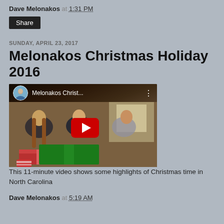Dave Melonakos at 1:31 PM
Share
SUNDAY, APRIL 23, 2017
Melonakos Christmas Holiday 2016
[Figure (screenshot): YouTube video thumbnail showing children opening Christmas presents, with a circular avatar, video title 'Melonakos Christ...' and a red YouTube play button overlay]
This 11-minute video shows some highlights of Christmas time in North Carolina
Dave Melonakos at 5:19 AM